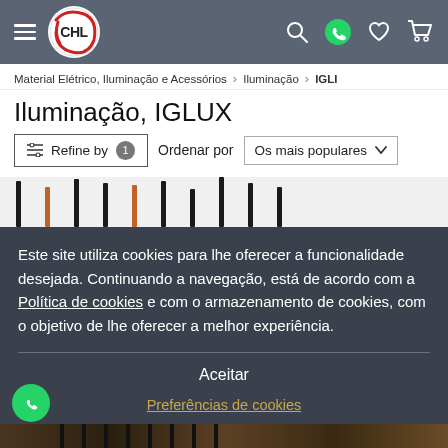[Figure (screenshot): CHL store logo - circular with red swoosh outline, text 'CHL' in center]
Material Elétrico, Iluminação e Acessórios > Iluminação > IGLI
Iluminação, IGLUX
Refine by 1   Ordenar por   Os mais populares
[Figure (photo): Partial view of pendant lamp product images at top]
Este site utiliza cookies para lhe oferecer a funcionalidade desejada. Continuando a navegação, está de acordo com a Política de cookies e com o armazenamento de cookies, com o objetivo de lhe oferecer a melhor experiência.
Aceitar
Preferências de cookies
[Figure (photo): Bottom strip showing vintage Edison bulb product images and WhatsApp floating button]